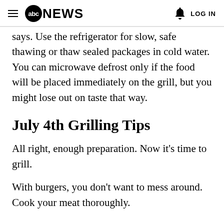abc NEWS  LOG IN
g … y says. Use the refrigerator for slow, safe thawing or thaw sealed packages in cold water. You can microwave defrost only if the food will be placed immediately on the grill, but you might lose out on taste that way.
July 4th Grilling Tips
All right, enough preparation. Now it's time to grill.
With burgers, you don't want to mess around. Cook your meat thoroughly.